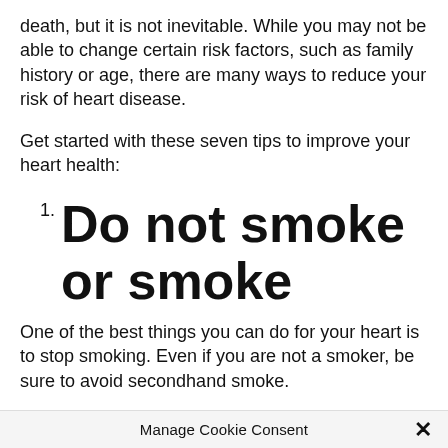death, but it is not inevitable. While you may not be able to change certain risk factors, such as family history or age, there are many ways to reduce your risk of heart disease.
Get started with these seven tips to improve your heart health:
1. Do not smoke or smoke
One of the best things you can do for your heart is to stop smoking. Even if you are not a smoker, be sure to avoid secondhand smoke.
Manage Cookie Consent ✕